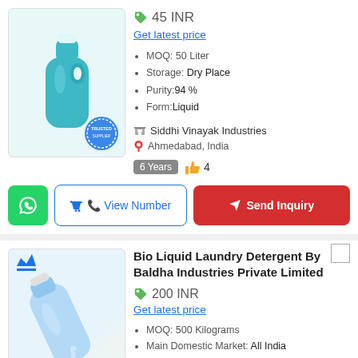[Figure (photo): Teal laundry detergent bottle with trusted stamp]
45 INR
Get latest price
MOQ: 50 Liter
Storage: Dry Place
Purity: 94 %
Form: Liquid
Siddhi Vinayak Industries
Ahmedabad, India
6 Years  👍 4
View Number  Send Inquiry
Bio Liquid Laundry Detergent By Baldha Industries Private Limited
200 INR
Get latest price
MOQ: 500 Kilograms
Main Domestic Market: All India
Delivery Time: 7 Days
Supply Ability: 100 Per Day
Baldha Industries Private Limited